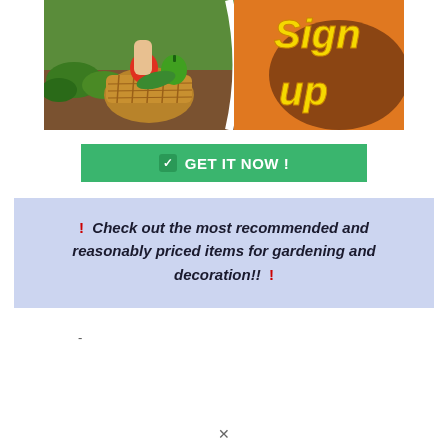[Figure (photo): Banner image showing a person holding a wicker basket with vegetables (peppers, zucchini) in a garden, with orange background and yellow text reading 'Sign up']
[Figure (infographic): Green button with white bold text 'GET IT NOW !' and a checkmark icon on the left]
! Check out the most recommended and reasonably priced items for gardening and decoration!! !
-
x